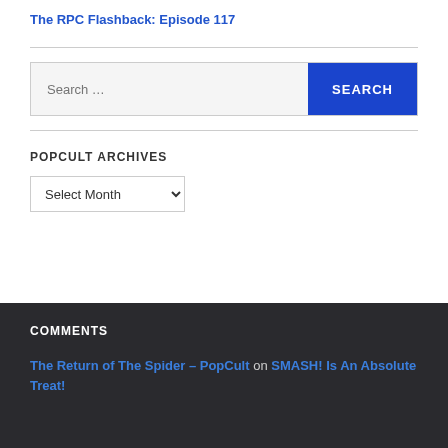The RPC Flashback: Episode 117
Search …
POPCULT ARCHIVES
Select Month
COMMENTS
The Return of The Spider – PopCult on SMASH! Is An Absolute Treat!